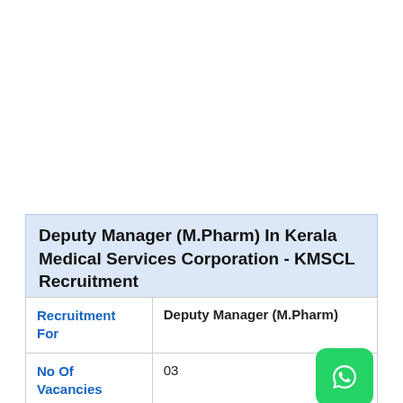Deputy Manager (M.Pharm) In Kerala Medical Services Corporation - KMSCL Recruitment
|  |  |
| --- | --- |
| Recruitment For | Deputy Manager (M.Pharm) |
| No Of Vacancies | 03 |
| Last | 15/02/2020 |